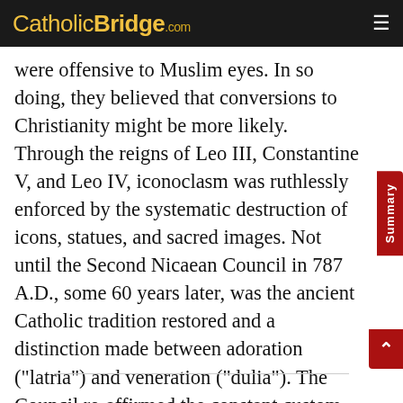CatholicBridge.com
were offensive to Muslim eyes. In so doing, they believed that conversions to Christianity might be more likely. Through the reigns of Leo III, Constantine V, and Leo IV, iconoclasm was ruthlessly enforced by the systematic destruction of icons, statues, and sacred images. Not until the Second Nicaean Council in 787 A.D., some 60 years later, was the ancient Catholic tradition restored and a distinction made between adoration ("latria") and veneration ("dulia"). The Council re-affirmed the constant custom of venerating religious images and icons while at the same time renouncing "icon worship". Biblical evidence for the Church's position can be found in these passages: Exodus 25:18-22, Exodus 28:33-34, Exodus 37:7-9, Numbers 21:8-9, 1 Kings 6:23-28 1 Kings 7:23-29, 2 Chronicles ch. 3-5.